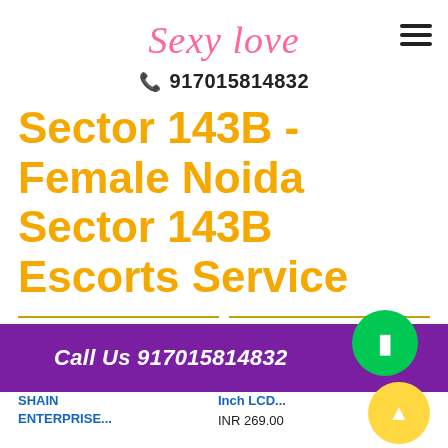Sexy love
📞 917015814832
Sector 143B - Female Noida Sector 143B Escorts Service
[Figure (screenshot): Two Amazon.in product cards side by side, each with the Amazon logo and orange arrow. Left card shows a cactus plush toy. Right card shows a tablet/LCD writing board with stylus.]
Call Us 917015814832
SHAIN ENTERPRISE...
Inch LCD...
INR 269.00